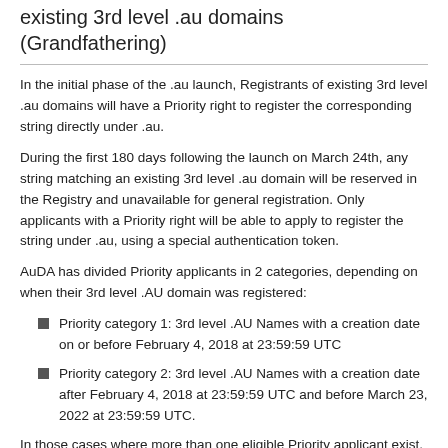existing 3rd level .au domains (Grandfathering)
In the initial phase of the .au launch, Registrants of existing 3rd level .au domains will have a Priority right to register the corresponding string directly under .au.
During the first 180 days following the launch on March 24th, any string matching an existing 3rd level .au domain will be reserved in the Registry and unavailable for general registration. Only applicants with a Priority right will be able to apply to register the string under .au, using a special authentication token.
AuDA has divided Priority applicants in 2 categories, depending on when their 3rd level .AU domain was registered:
Priority category 1: 3rd level .AU Names with a creation date on or before February 4, 2018 at 23:59:59 UTC
Priority category 2: 3rd level .AU Names with a creation date after February 4, 2018 at 23:59:59 UTC and before March 23, 2022 at 23:59:59 UTC.
In those cases where more than one eligible Priority applicant exist, the 2nd level .AU domains will be allocated according to the following criteria: